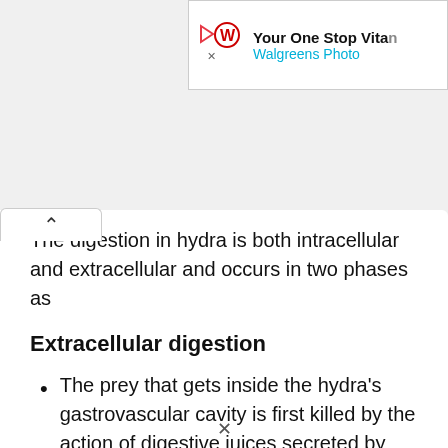[Figure (other): Walgreens advertisement banner: 'Your One Stop Vitamin' and 'Walgreens Photo' with Walgreens W logo]
The digestion in hydra is both intracellular and extracellular and occurs in two phases as
Extracellular digestion
The prey that gets inside the hydra's gastrovascular cavity is first killed by the action of digestive juices secreted by the gland cells of the gastrodermis